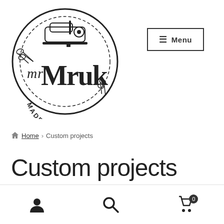[Figure (logo): mrMruk Made in Poland logo — circular stamp design with sewing machine, scissors, and cursive/bold text]
≡ Menu
🏠 Home › Custom projects
Custom projects
user icon | search icon | cart icon (0)